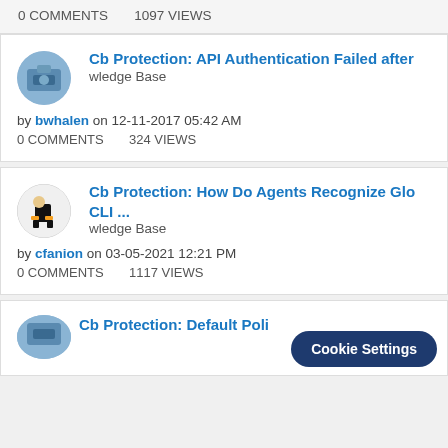0 COMMENTS   1097 VIEWS
Cb Protection: API Authentication Failed after
wledge Base
by bwhalen on 12-11-2017 05:42 AM
0 COMMENTS   324 VIEWS
Cb Protection: How Do Agents Recognize Glo CLI ...
wledge Base
by cfanion on 03-05-2021 12:21 PM
0 COMMENTS   1117 VIEWS
Cb Protection: Default Pol...
Cookie Settings